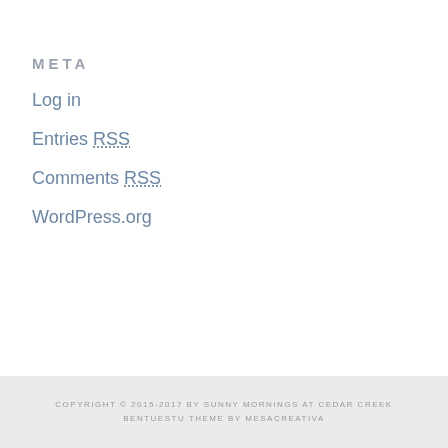META
Log in
Entries RSS
Comments RSS
WordPress.org
COPYRIGHT © 2015-2017 BY SUNNY MORNINGS AT CEDAR CREEK BENTUESTU THEME BY MESACREATIVA